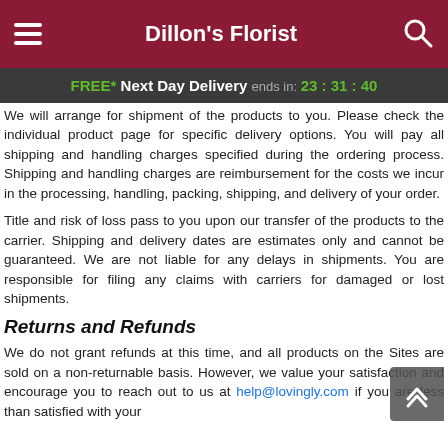Dillon's Florist
FREE* Next Day Delivery ends in: 23:31:40
We will arrange for shipment of the products to you. Please check the individual product page for specific delivery options. You will pay all shipping and handling charges specified during the ordering process. Shipping and handling charges are reimbursement for the costs we incur in the processing, handling, packing, shipping, and delivery of your order.
Title and risk of loss pass to you upon our transfer of the products to the carrier. Shipping and delivery dates are estimates only and cannot be guaranteed. We are not liable for any delays in shipments. You are responsible for filing any claims with carriers for damaged or lost shipments.
Returns and Refunds
We do not grant refunds at this time, and all products on the Sites are sold on a non-returnable basis. However, we value your satisfaction and encourage you to reach out to us at help@lovingly.com if you are less than satisfied with your